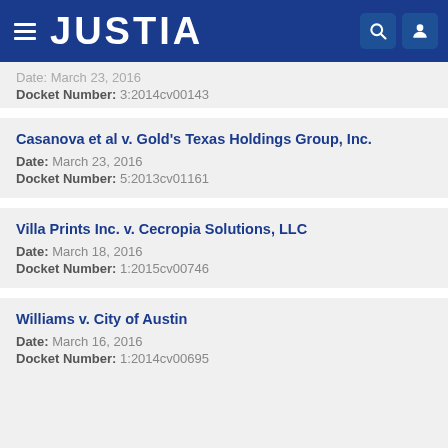JUSTIA
Date: March 23, 2016
Docket Number: 3:2014cv00143
Casanova et al v. Gold's Texas Holdings Group, Inc.
Date: March 23, 2016
Docket Number: 5:2013cv01161
Villa Prints Inc. v. Cecropia Solutions, LLC
Date: March 18, 2016
Docket Number: 1:2015cv00746
Williams v. City of Austin
Date: March 16, 2016
Docket Number: 1:2014cv00695